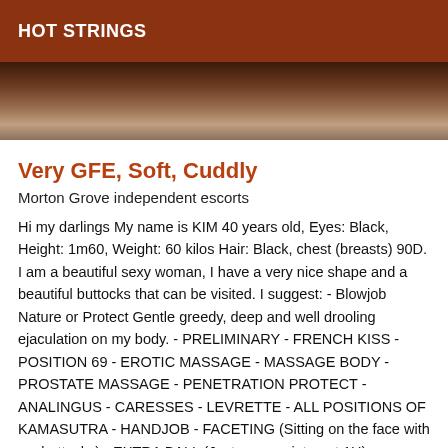HOT STRINGS
[Figure (photo): Partial photo of a person, cropped, showing skin tones in brown/tan hues against a background.]
Very GFE, Soft, Cuddly
Morton Grove independent escorts
Hi my darlings My name is KIM 40 years old, Eyes: Black, Height: 1m60, Weight: 60 kilos Hair: Black, chest (breasts) 90D. I am a beautiful sexy woman, I have a very nice shape and a beautiful buttocks that can be visited. I suggest: - Blowjob Nature or Protect Gentle greedy, deep and well drooling ejaculation on my body. - PRELIMINARY - FRENCH KISS - POSITION 69 - EROTIC MASSAGE - MASSAGE BODY - PROSTATE MASSAGE - PENETRATION PROTECT - ANALINGUS - CARESSES - LEVRETTE - ALL POSITIONS OF KAMASUTRA - HANDJOB - FACETING (Sitting on the face with my buttocks) - EXTRA BALL (Just on appointment 1H) - CUNNILINGUS - ANAL MASSAGE - GIRL FRIEND EXPERIENCE (GFE) Like on the